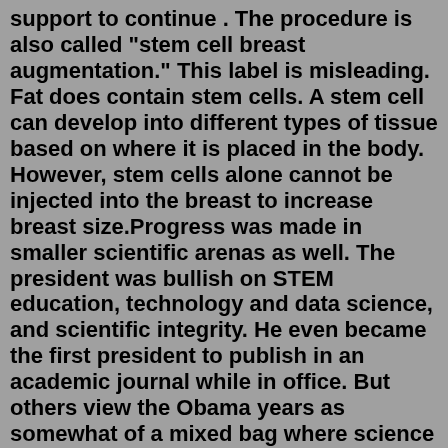support to continue . The procedure is also called "stem cell breast augmentation." This label is misleading. Fat does contain stem cells. A stem cell can develop into different types of tissue based on where it is placed in the body. However, stem cells alone cannot be injected into the breast to increase breast size.Progress was made in smaller scientific arenas as well. The president was bullish on STEM education, technology and data science, and scientific integrity. He even became the first president to publish in an academic journal while in office. But others view the Obama years as somewhat of a mixed bag where science was concerned. At one time in the Stem Cell Program at Children's Hospital in Boston, we had two liquid nitrogen containers, one labeled P, the other NP. These containers were used to store batches of stem cells.View user WKCarbine on reddit. For Memorial Day 2000 x 1241.At ages 13 to 17, only. 11%. of girls say they plan to pursue a STEM career, compared to 35% of boys. “Boys do not pursue mathematical activities at a higher rate than girls